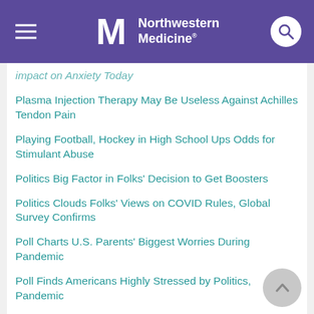Northwestern Medicine
impact on Anxiety Today
Plasma Injection Therapy May Be Useless Against Achilles Tendon Pain
Playing Football, Hockey in High School Ups Odds for Stimulant Abuse
Politics Big Factor in Folks' Decision to Get Boosters
Politics Clouds Folks' Views on COVID Rules, Global Survey Confirms
Poll Charts U.S. Parents' Biggest Worries During Pandemic
Poll Finds Americans Highly Stressed by Politics, Pandemic
Poll Finds Many Diabetes Caregivers Exhausted,